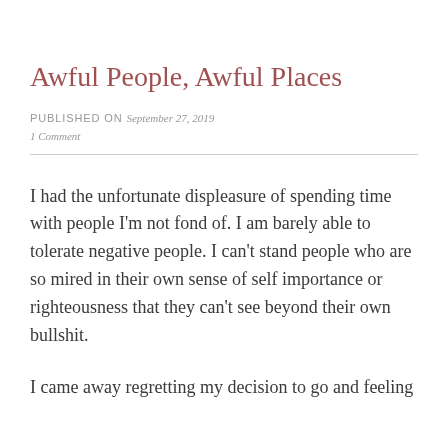Awful People, Awful Places
PUBLISHED ON September 27, 2019
1 Comment
I had the unfortunate displeasure of spending time with people I'm not fond of. I am barely able to tolerate negative people. I can't stand people who are so mired in their own sense of self importance or righteousness that they can't see beyond their own bullshit.
I came away regretting my decision to go and feeling